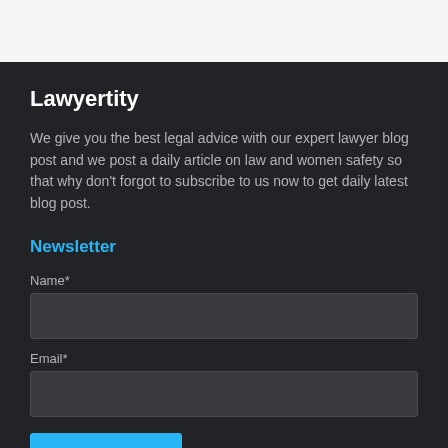Lawyertity
We give you the best legal advice with our expert lawyer blog post and we post a daily article on law and women safety so that why don't forgot to subscribe to us now to get daily latest blog post.
Newsletter
Name*
Email*
SUBSCRIBE